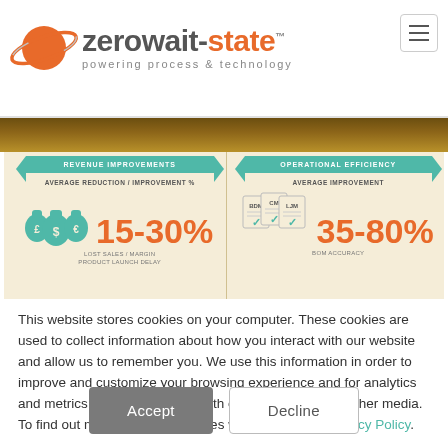[Figure (logo): Zerowait-state logo with orange planet/orbit graphic and tagline 'powering process & technology']
[Figure (infographic): Infographic banner showing Revenue Improvements (15-30% average reduction/improvement in lost sales/margin, product launch delay) and Operational Efficiency (35-80% average improvement in BOM accuracy) with teal ribbons, money bag icons and document icons on a tan/wood background]
This website stores cookies on your computer. These cookies are used to collect information about how you interact with our website and allow us to remember you. We use this information in order to improve and customize your browsing experience and for analytics and metrics about our visitors both on this website and other media. To find out more about the cookies we use, see our Privacy Policy.
If you decline, your information won’t be tracked when you visit this website. A single cookie will be used in your browser to remember your preference not to be tracked.